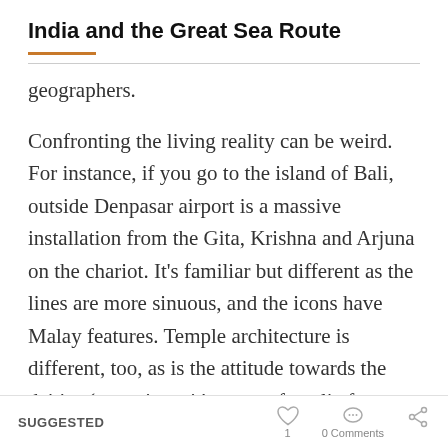India and the Great Sea Route
geographers.
Confronting the living reality can be weird. For instance, if you go to the island of Bali, outside Denpasar airport is a massive installation from the Gita, Krishna and Arjuna on the chariot. It’s familiar but different as the lines are more sinuous, and the icons have Malay features. Temple architecture is different, too, as is the attitude towards the deities (sometimes it’s more of a relic for tourists). Formal greetings among locals are still in Sanskrit though the national language
SUGGESTED   1   0 Comments